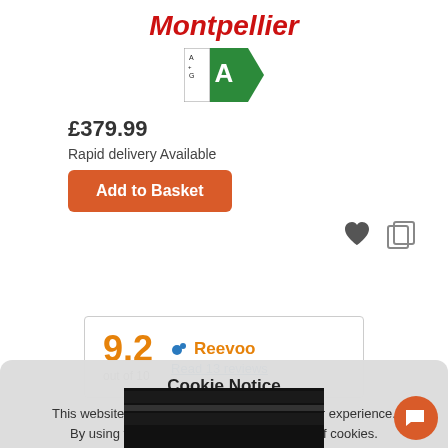Montpellier
[Figure (illustration): Energy efficiency label showing rating 'A' on a green arrow, with A+G scale on the left]
£379.99
Rapid delivery Available
Add to Basket
[Figure (infographic): Reevoo rating box showing 9.2 out of 10, with Reevoo logo and 'Read 13 reviews' link]
Cookie Notice
This website uses cookies to improve your user experience. By using the website you agree to our use of cookies.
I Accept
Read More
[Figure (photo): Partial product image showing black appliance strips at bottom of page]